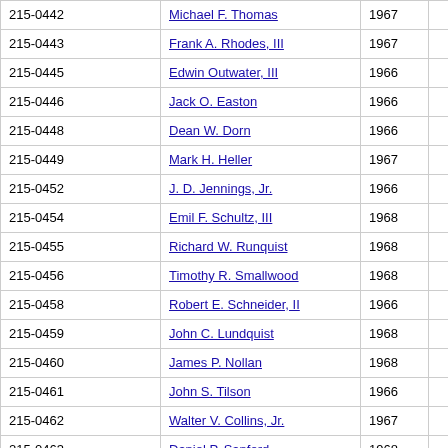| ID | Name | Year |  |
| --- | --- | --- | --- |
| 215-0442 | Michael F. Thomas | 1967 |  |
| 215-0443 | Frank A. Rhodes, III | 1967 |  |
| 215-0445 | Edwin Outwater, III | 1966 |  |
| 215-0446 | Jack O. Easton | 1966 |  |
| 215-0448 | Dean W. Dorn | 1966 |  |
| 215-0449 | Mark H. Heller | 1967 |  |
| 215-0452 | J. D. Jennings, Jr. | 1966 |  |
| 215-0454 | Emil F. Schultz, III | 1968 |  |
| 215-0455 | Richard W. Runquist | 1968 |  |
| 215-0456 | Timothy R. Smallwood | 1968 |  |
| 215-0458 | Robert E. Schneider, II | 1966 |  |
| 215-0459 | John C. Lundquist | 1968 |  |
| 215-0460 | James P. Nollan | 1968 |  |
| 215-0461 | John S. Tilson | 1966 |  |
| 215-0462 | Walter V. Collins, Jr. | 1967 |  |
| 215-0463 | Daniel P. Sanford | 1968 |  |
| 215-0465 | Larry N. Buchanan | 1968 |  |
| 215-0466 | Douglas L. Shurtleff | 1968 |  |
| 215-0467 | James W. Jones | 1967 |  |
| 215-0469 | Thomas O. Perry | 1967 |  |
| 215-0470 | Michael H. Smith | 1967 |  |